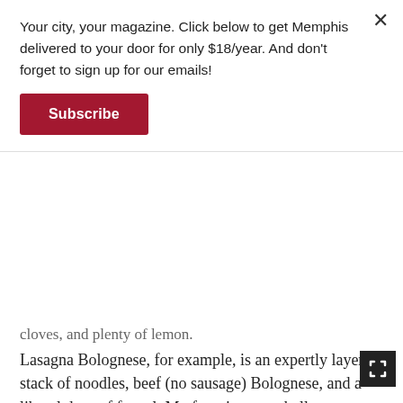Your city, your magazine. Click below to get Memphis delivered to your door for only $18/year. And don't forget to sign up for our emails!
Subscribe
cloves, and plenty of lemon.
Lasagna Bolognese, for example, is an expertly layered stack of noodles, beef (no sausage) Bolognese, and a liberal dose of fennel. My favorite, portobello mushroom ravioli, owes gratitude to Gracie's signature brodo, a flavorful Italian broth made with fresh sage and toasted walnuts for extra crunch.
Weekly specials also perk up Lavoro's standard entrée